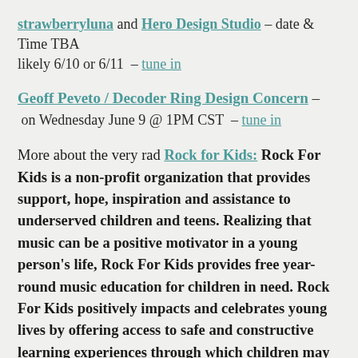strawberryluna and Hero Design Studio – date & Time TBA likely 6/10 or 6/11 – tune in
Geoff Peveto / Decoder Ring Design Concern – on Wednesday June 9 @ 1PM CST – tune in
More about the very rad Rock for Kids: Rock For Kids is a non-profit organization that provides support, hope, inspiration and assistance to underserved children and teens. Realizing that music can be a positive motivator in a young person's life, Rock For Kids provides free year-round music education for children in need. Rock For Kids positively impacts and celebrates young lives by offering access to safe and constructive learning experiences through which children may challenge themselves, build self-esteem and explore their own creative potential. Realizing that music has the power to transcend